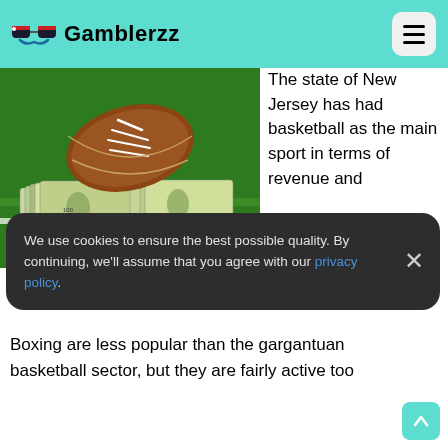Gamblerzz
[Figure (photo): Football and stacks of US dollar bills on green grass field]
The state of New Jersey has had basketball as the main sport in terms of revenue and
We use cookies to ensure the best possible quality. By continuing, we'll assume that you agree with our privacy policy.
Boxing are less popular than the gargantuan basketball sector, but they are fairly active too